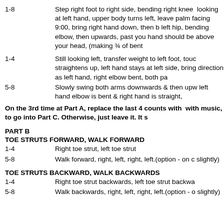1-8	Step right foot to right side, bending right knee, looking at left hand, upper body turns left, leave palm facing 9:00, bring right hand down, then b left hip, bending elbow, then upwards, past you hand should be above your head, (making ¾ of bent
1-4	Still looking left, transfer weight to left foot, touch straightens up, left hand stays at left side, bring direction as left hand, right elbow bent, both pa
5-8	Slowly swing both arms downwards & then upw left hand elbow is bent & right hand is straight,
On the 3rd time at Part A, replace the last 4 counts with with music, to go into Part C. Otherwise, just leave it. It s
PART B
TOE STRUTS FORWARD, WALK FORWARD
1-4	Right toe strut, left toe strut
5-8	Walk forward, right, left, right, left.(option - on c slightly)
TOE STRUTS BACKWARD, WALK BACKWARDS
1-4	Right toe strut backwards, left toe strut backwa
5-8	Walk backwards, right, left, right, left.(option - o slightly)